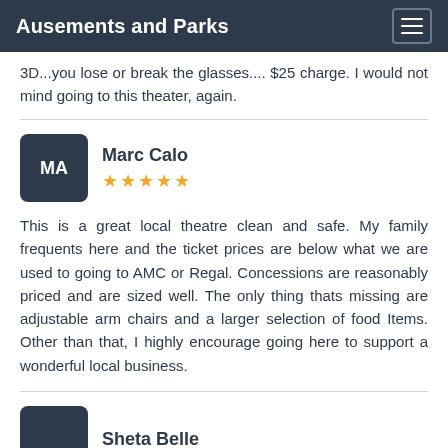Ausements and Parks
3D...you lose or break the glasses.... $25 charge. I would not mind going to this theater, again.
Marc Calo — 4 stars
This is a great local theatre clean and safe. My family frequents here and the ticket prices are below what we are used to going to AMC or Regal. Concessions are reasonably priced and are sized well. The only thing thats missing are adjustable arm chairs and a larger selection of food Items. Other than that, I highly encourage going here to support a wonderful local business.
Sheta Belle